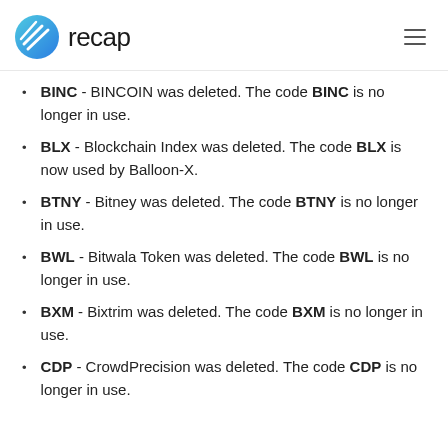recap
BINC - BINCOIN was deleted. The code BINC is no longer in use.
BLX - Blockchain Index was deleted. The code BLX is now used by Balloon-X.
BTNY - Bitney was deleted. The code BTNY is no longer in use.
BWL - Bitwala Token was deleted. The code BWL is no longer in use.
BXM - Bixtrim was deleted. The code BXM is no longer in use.
CDP - CrowdPrecision was deleted. The code CDP is no longer in use.